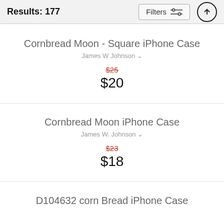Results: 177
Cornbread Moon - Square iPhone Case
James W Johnson
$25 (original) $20 (sale)
Cornbread Moon iPhone Case
James W. Johnson
$23 (original) $18 (sale)
D104632 corn Bread iPhone Case